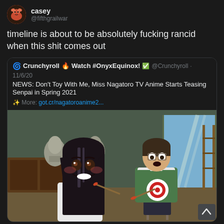casey @fifthgrailwar
timeline is about to be absolutely fucking rancid when this shit comes out
Crunchyroll 🔥 Watch #OnyxEquinox! ✅ @Crunchyroll · 11/6/20
NEWS: Don't Toy With Me, Miss Nagatoro TV Anime Starts Teasing Senpai in Spring 2021
✨ More: got.cr/nagatoroanime2...
[Figure (illustration): Anime illustration showing two characters: a dark-haired girl in a white shirt smiling and holding a brush near a green-aproned boy sitting on a stool, with sculpture busts in the background in an art room setting.]